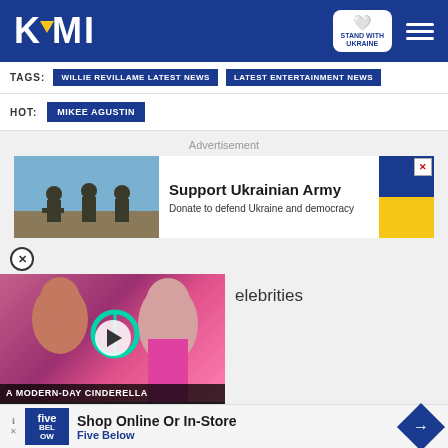KAMI — STAND WITH UKRAINE
TAGS: WILLIE REVILLAME LATEST NEWS | LATEST ENTERTAINMENT NEWS
HOT: MIKEE AGUSTIN
Advertisement
[Figure (infographic): Support Ukrainian Army advertisement banner with soldiers image and Ukrainian flag colors]
[Figure (infographic): Video thumbnail showing A MODERN-DAY CINDERELLA with women in colorful outfits and play button]
elebrities
[Figure (infographic): Five Below advertisement: Shop Online Or In-Store]